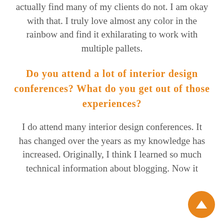actually find many of my clients do not. I am okay with that. I truly love almost any color in the rainbow and find it exhilarating to work with multiple pallets.
Do you attend a lot of interior design conferences? What do you get out of those experiences?
I do attend many interior design conferences. It has changed over the years as my knowledge has increased. Originally, I think I learned so much technical information about blogging. Now it